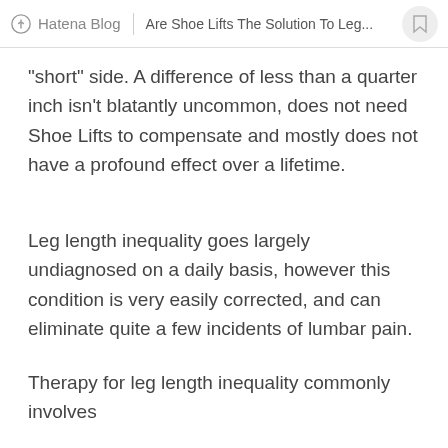Hatena Blog | Are Shoe Lifts The Solution To Leg...
"short" side. A difference of less than a quarter inch isn't blatantly uncommon, does not need Shoe Lifts to compensate and mostly does not have a profound effect over a lifetime.
Leg length inequality goes largely undiagnosed on a daily basis, however this condition is very easily corrected, and can eliminate quite a few incidents of lumbar pain.
Therapy for leg length inequality commonly involves